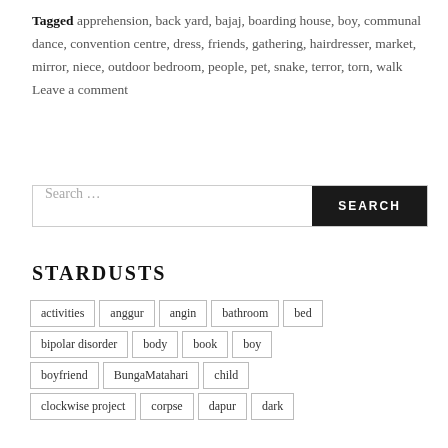Tagged apprehension, back yard, bajaj, boarding house, boy, communal dance, convention centre, dress, friends, gathering, hairdresser, market, mirror, niece, outdoor bedroom, people, pet, snake, terror, torn, walk   Leave a comment
Search ...
STARDUSTS
activities
anggur
angin
bathroom
bed
bipolar disorder
body
book
boy
boyfriend
BungaMatahari
child
clockwise project
corpse
dapur
dark